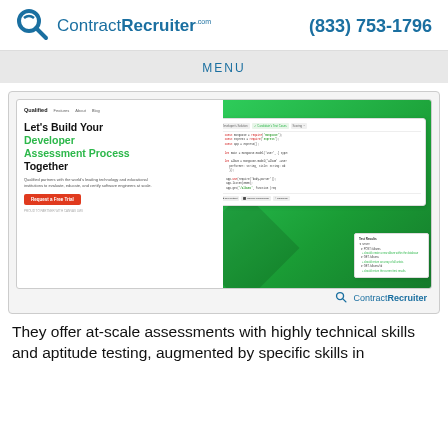ContractRecruiter.com | (833) 753-1796
MENU
[Figure (screenshot): Screenshot of Qualified website showing 'Let's Build Your Developer Assessment Process Together' headline with green and black text, code editor panel, test results panel, a 'Request a Free Trial' red button, and ContractRecruiter watermark logo at bottom right.]
They offer at-scale assessments with highly technical skills and aptitude testing, augmented by specific skills in